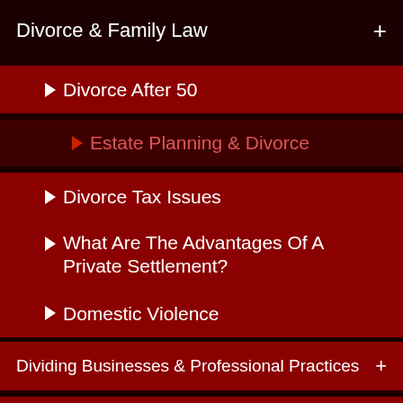Divorce & Family Law
Divorce After 50
Estate Planning & Divorce
Divorce Tax Issues
What Are The Advantages Of A Private Settlement?
Domestic Violence
Dividing Businesses & Professional Practices
Child Custody & Visitation
High Net Worth Divorce